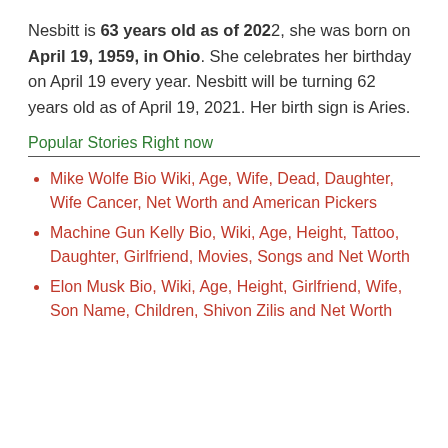Nesbitt is 63 years old as of 2022, she was born on April 19, 1959, in Ohio. She celebrates her birthday on April 19 every year. Nesbitt will be turning 62 years old as of April 19, 2021. Her birth sign is Aries.
Popular Stories Right now
Mike Wolfe Bio Wiki, Age, Wife, Dead, Daughter, Wife Cancer, Net Worth and American Pickers
Machine Gun Kelly Bio, Wiki, Age, Height, Tattoo, Daughter, Girlfriend, Movies, Songs and Net Worth
Elon Musk Bio, Wiki, Age, Height, Girlfriend, Wife, Son Name, Children, Shivon Zilis and Net Worth